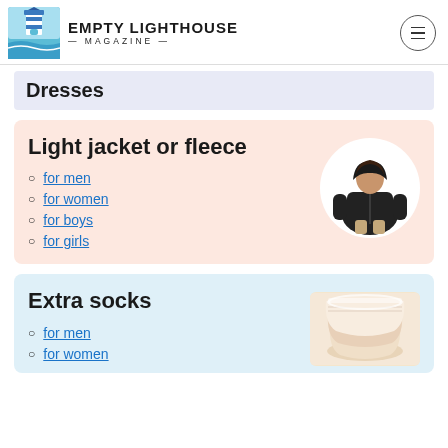Empty Lighthouse Magazine
Dresses
Light jacket or fleece
for men
for women
for boys
for girls
[Figure (photo): Woman wearing a black fleece zip-up jacket]
Extra socks
for men
for women
[Figure (photo): Pack of white ankle socks]